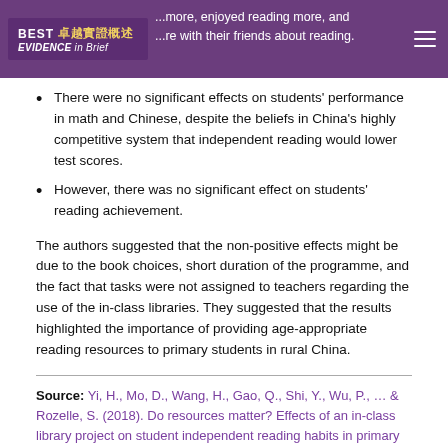BEST EVIDENCE in Brief — header with partial text: ...more, enjoyed reading more, and ...re with their friends about reading.
There were no significant effects on students' performance in math and Chinese, despite the beliefs in China's highly competitive system that independent reading would lower test scores.
However, there was no significant effect on students' reading achievement.
The authors suggested that the non-positive effects might be due to the book choices, short duration of the programme, and the fact that tasks were not assigned to teachers regarding the use of the in-class libraries. They suggested that the results highlighted the importance of providing age-appropriate reading resources to primary students in rural China.
Source: Yi, H., Mo, D., Wang, H., Gao, Q., Shi, Y., Wu, P., … & Rozelle, S. (2018). Do resources matter? Effects of an in-class library project on student independent reading habits in primary